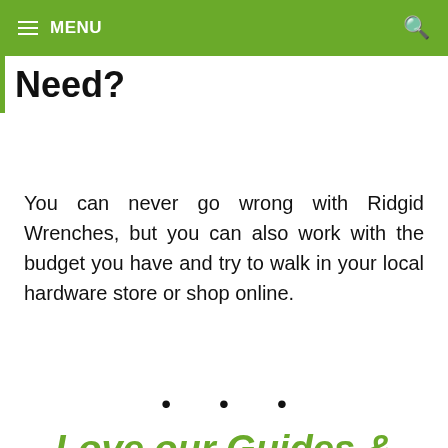≡ MENU
Need?
You can never go wrong with Ridgid Wrenches, but you can also work with the budget you have and try to walk in your local hardware store or shop online.
· · ·
Love our Guides &
[Figure (other): CVS Pharmacy advertisement banner: '50+ Same Day Photo Products, CVS Photo' with CVS logo and navigation arrow icon]